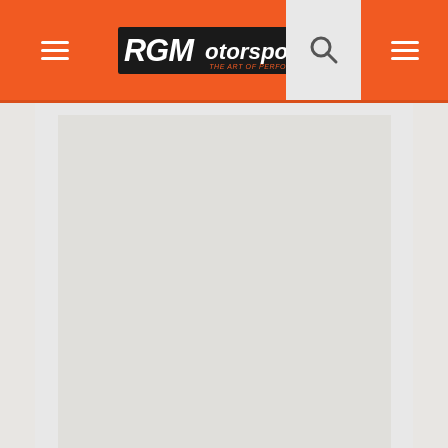RGMotorsport - The Art of Performance
[Figure (screenshot): RGM Motorsport website header with orange navigation bar showing hamburger menu icon on the left, RGMotorsport logo in the center, search icon and menu icon on the right. Below is a large light gray content area placeholder.]